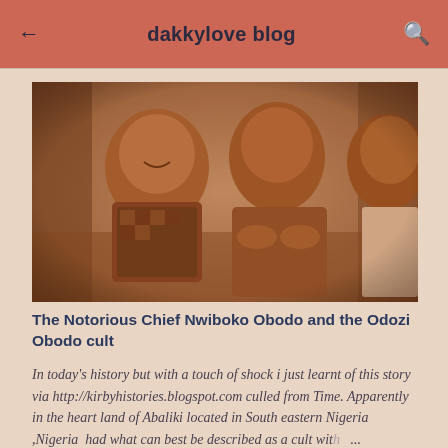dakkylove blog
[Figure (photo): Sepia-toned historical photograph of three men seated together. The man on the left is smiling and wearing a patterned garment. The man in the center is looking forward with arms resting. A third man is partially visible on the right.]
The Notorious Chief Nwiboko Obodo and the Odozi Obodo cult
In today's history but with a touch of shock i just learnt of this story via http://kirbyhistories.blogspot.com culled from Time. Apparently in the heart land of Abaliki located in South eastern Nigeria ,Nigeria  had what can best be described as a cult with ...